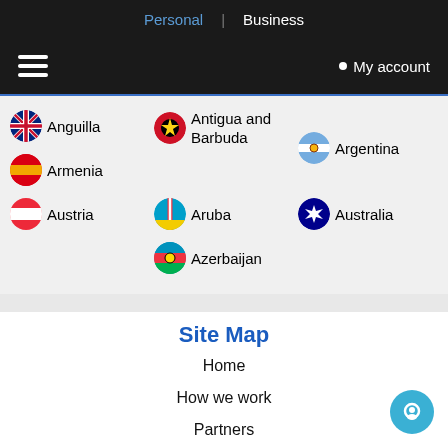Personal | Business
≡ My account
Anguilla
Antigua and Barbuda
Argentina
Armenia
Aruba
Australia
Austria
Azerbaijan
Site Map
Home
How we work
Partners
Refer a friend
Customer's Voice